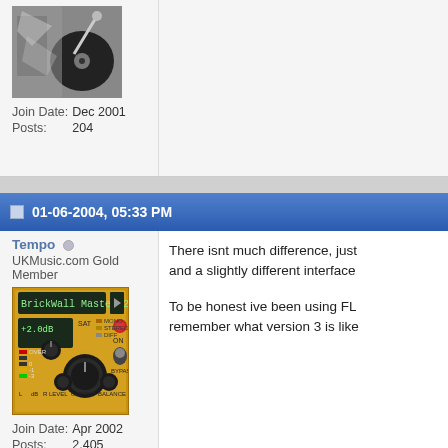[Figure (photo): Black and white photo of a DJ turntable with a vinyl record]
Join Date:    Dec 2001
Posts:    204
[Figure (screenshot): Blue gradient post header bar showing date/time: 01-06-2004, 05:33 PM]
Tempo
UKMusic.com Gold Member
[Figure (photo): BrickWall Master 2 VST plugin interface with yellow background showing knobs and meters]
Join Date:    Apr 2002
Posts:    2,405
There isnt much difference, just and a slightly different interface
To be honest ive been using FL remember what version 3 is like